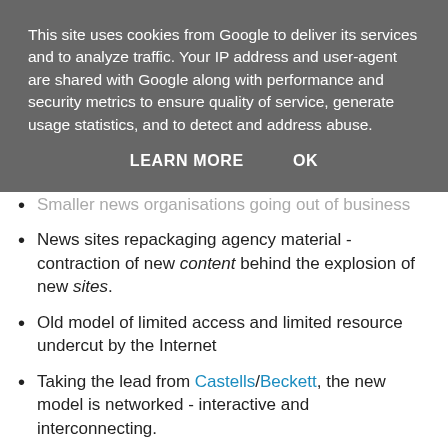This site uses cookies from Google to deliver its services and to analyze traffic. Your IP address and user-agent are shared with Google along with performance and security metrics to ensure quality of service, generate usage statistics, and to detect and address abuse.
LEARN MORE   OK
Smaller news organisations going out of business
News sites repackaging agency material - contraction of new content behind the explosion of new sites.
Old model of limited access and limited resource undercut by the Internet
Taking the lead from Castells/Beckett, the new model is networked - interactive and interconnecting.
Citizen journalism - what does this mean for standards of accuracy, rigour and accountability? CNN's I-report fails over Steve Jobs.